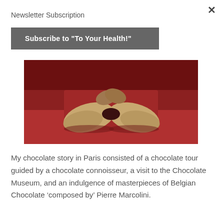Newsletter Subscription
Subscribe to "To Your Health!"
[Figure (photo): Museum exhibit photo showing a cacao pod or chocolate-related artifact with hands, displayed on a red background]
My chocolate story in Paris consisted of a chocolate tour guided by a chocolate connoisseur, a visit to the Chocolate Museum, and an indulgence of masterpieces of Belgian Chocolate ‘composed by’ Pierre Marcolini.